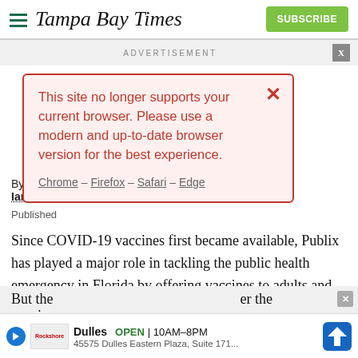Tampa Bay Times | SUBSCRIBE
ADVERTISEMENT
[Figure (screenshot): Browser compatibility warning modal with red border on pink background: 'This site no longer supports your current browser. Please use a modern and up-to-date browser version for the best experience. Chrome – Firefox – Safari – Edge']
By Christ... Ian H... Published...
Since COVID-19 vaccines first became available, Publix has played a major role in tackling the public health emergency in Florida by offering vaccines to adults and, later, children as young as 5.
But the... vaccin... er the ... s
[Figure (screenshot): Bottom ad banner: Dulles OPEN 10AM–8PM, 45575 Dulles Eastern Plaza, Suite 171...]